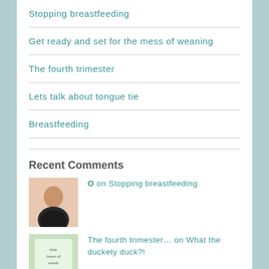Stopping breastfeeding
Get ready and set for the mess of weaning
The fourth trimester
Lets talk about tongue tie
Breastfeeding
Recent Comments
O on Stopping breastfeeding
The fourth trimester… on What the duckety duck?!
Adventures With Aman… on My final birth